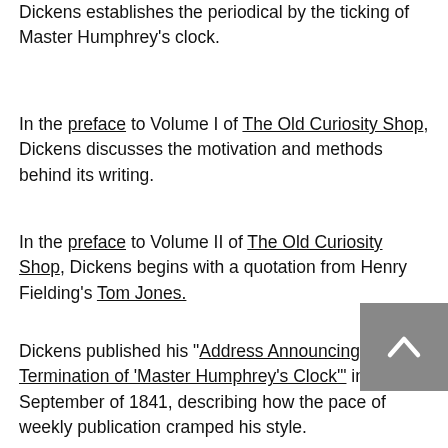Dickens establishes the periodical by the ticking of Master Humphrey's clock.
In the preface to Volume I of The Old Curiosity Shop, Dickens discusses the motivation and methods behind its writing.
In the preface to Volume II of The Old Curiosity Shop, Dickens begins with a quotation from Henry Fielding's Tom Jones.
Dickens published his "Address Announcing the Termination of 'Master Humphrey's Clock'" in September of 1841, describing how the pace of weekly publication cramped his style.
Dickens published his Postscript for Master Humphrey's Clock in November of 1841.